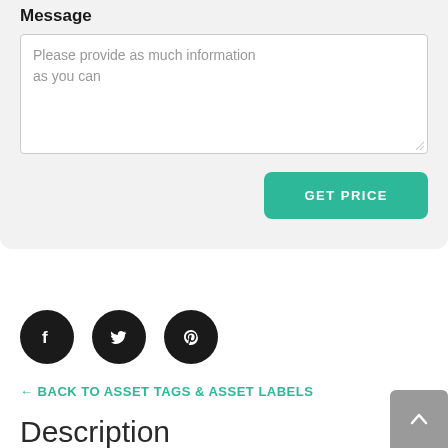Message
Please provide as much information as you can
GET PRICE
[Figure (other): Social share icons: Facebook, Twitter, Pinterest — black circles with white icons]
← BACK TO ASSET TAGS & ASSET LABELS
Description